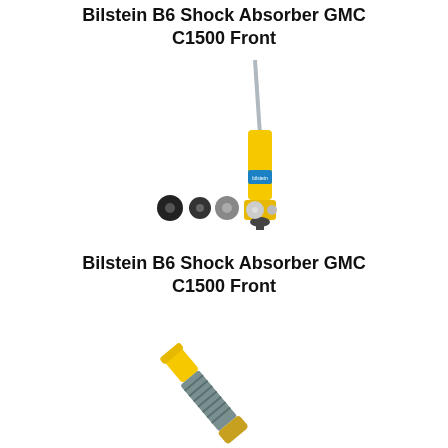Bilstein B6 Shock Absorber GMC C1500 Front
[Figure (photo): Bilstein B6 yellow shock absorber with mounting hardware components (washers and bushings) shown separately below the shock body]
Bilstein B6 Shock Absorber GMC C1500 Front
[Figure (photo): Bilstein B6 yellow shock absorber with coil spring/boot assembly shown at an angle, gold/bronze lower mount visible]